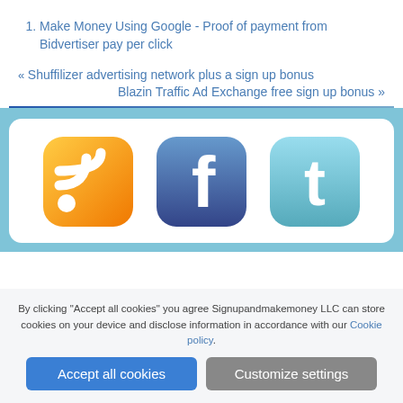Make Money Using Google - Proof of payment from Bidvertiser pay per click
« Shuffilizer advertising network plus a sign up bonus
Blazin Traffic Ad Exchange free sign up bonus »
[Figure (illustration): Three social media icons: RSS feed (orange), Facebook (blue), Twitter (light blue)]
By clicking "Accept all cookies" you agree Signupandmakemoney LLC can store cookies on your device and disclose information in accordance with our Cookie policy.
Accept all cookies
Customize settings